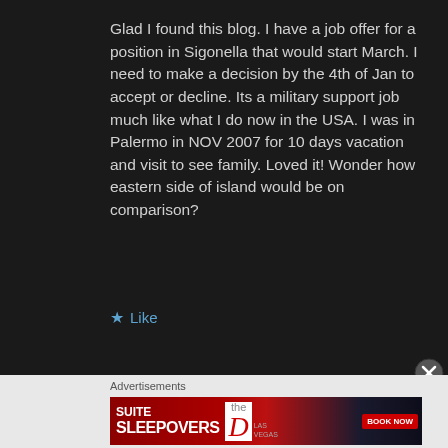Glad I found this blog. I have a job offer for a position in Sigonella that would start March. I need to make a decision by the 4th of Jan to accept or decline. Its a military support job much like what I do now in the USA. I was in Palermo in NOV 2007 for 10 days vacation and visit to see family. Loved it! Wonder how eastern side of island would be on comparison?
★ Like
Advertisements
[Figure (other): Advertisement banner for Suite Sleepovers at The D Las Vegas with Book Now button]